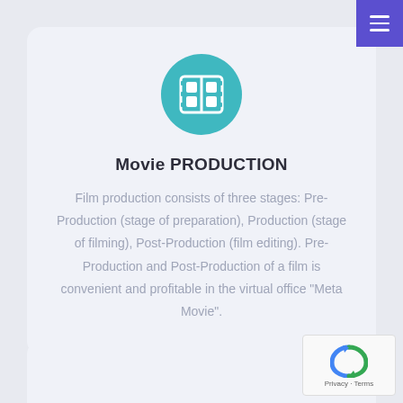[Figure (illustration): Teal circular icon with a film strip / movie film symbol in white]
Movie PRODUCTION
Film production consists of three stages: Pre-Production (stage of preparation), Production (stage of filming), Post-Production (film editing). Pre-Production and Post-Production of a film is convenient and profitable in the virtual office "Meta Movie".
[Figure (logo): Google reCAPTCHA widget with Privacy and Terms text]